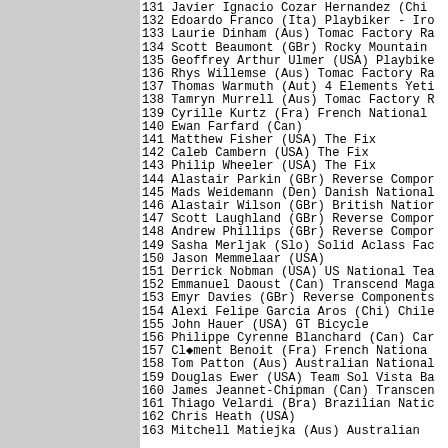131 Javier Ignacio Cozar Hernandez (Chi)
132 Edoardo Franco (Ita) Playbiker - Iro
133 Laurie Dinham (Aus) Tomac Factory Ra
134 Scott Beaumont (GBr) Rocky Mountain
135 Geoffrey Arthur Ulmer (USA) Playbike
136 Rhys Willemse (Aus) Tomac Factory Ra
137 Thomas Warmuth (Aut) 4 Elements Yeti
138 Tamryn Murrell (Aus) Tomac Factory R
139 Cyrille Kurtz (Fra) French National
140 Ewan Farfard (Can)
141 Matthew Fisher (USA) The Fix
142 Caleb Cambern (USA) The Fix
143 Philip Wheeler (USA) The Fix
144 Alastair Parkin (GBr) Reverse Compor
145 Mads Weidemann (Den) Danish National
146 Alastair Wilson (GBr) British Nation
147 Scott Laughland (GBr) Reverse Compor
148 Andrew Phillips (GBr) Reverse Compor
149 Sasha Merljak (Slo) Solid Aclass Fac
150 Jason Memmelaar (USA)
151 Derrick Nobman (USA) US National Tea
152 Emmanuel Daoust (Can) Transcend Maga
153 Emyr Davies (GBr) Reverse Components
154 Alexi Felipe Garcia Aros (Chi) Chile
155 John Hauer (USA) GT Bicycle
156 Philippe Cyrenne Blanchard (Can) Car
157 Cl◆ment Benoit (Fra) French Nationa
158 Tom Patton (Aus) Australian National
159 Douglas Ewer (USA) Team Sol Vista Ba
160 James Jeannet-Chipman (Can) Transcen
161 Thiago Velardi (Bra) Brazilian Natio
162 Chris Heath (USA)
163 Mitchell Matiejka (Aus) Australian